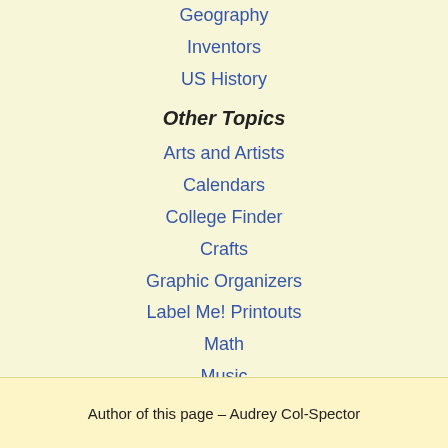Geography
Inventors
US History
Other Topics
Arts and Artists
Calendars
College Finder
Crafts
Graphic Organizers
Label Me! Printouts
Math
Music
Word Wheels
Author of this page – Audrey Col-Spector